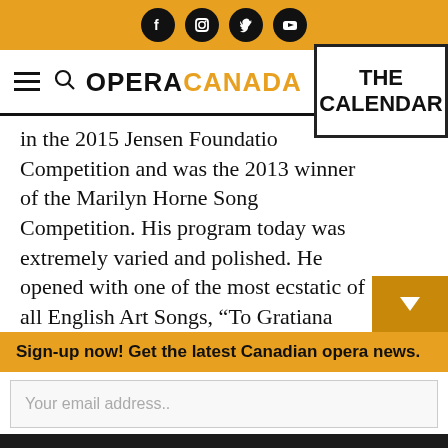Opera Canada - social icons header bar
OPERA CANADA | THE CALENDAR
in the 2015 Jensen Foundation Competition and was the 2013 winner of the Marilyn Horne Song Competition. His program today was extremely varied and polished. He opened with one of the most ecstatic of all English Art Songs, “To Gratiana
Sign-up now! Get the latest Canadian opera news.
Your email address..
Sign-Up